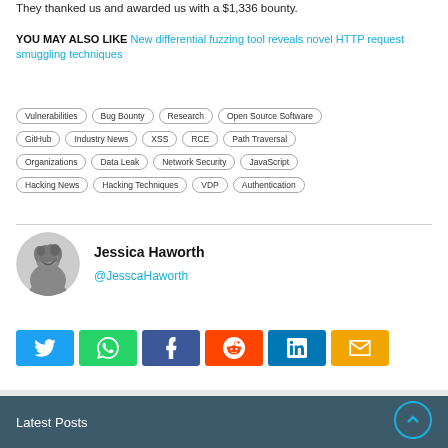They thanked us and awarded us with a $1,336 bounty.
YOU MAY ALSO LIKE New differential fuzzing tool reveals novel HTTP request smuggling techniques
Vulnerabilities
Bug Bounty
Research
Open Source Software
GitHub
Industry News
XSS
RCE
Path Traversal
Organizations
Data Leak
Network Security
JavaScript
Hacking News
Hacking Techniques
VDP
Authentication
Jessica Haworth
@JesscaHaworth
Latest Posts